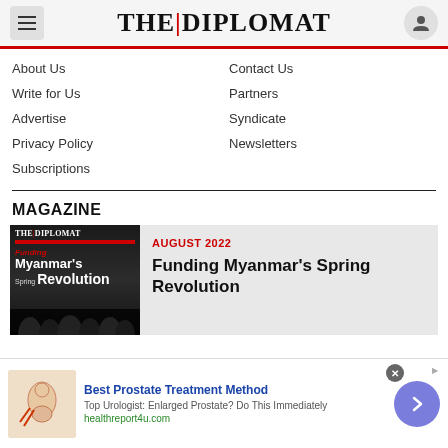THE | DIPLOMAT
About Us
Contact Us
Write for Us
Partners
Advertise
Syndicate
Privacy Policy
Newsletters
Subscriptions
MAGAZINE
[Figure (other): Cover of The Diplomat magazine showing Myanmar's Spring Revolution issue]
AUGUST 2022
Funding Myanmar’s Spring Revolution
[Figure (other): Advertisement for Best Prostate Treatment Method from healthreport4u.com]